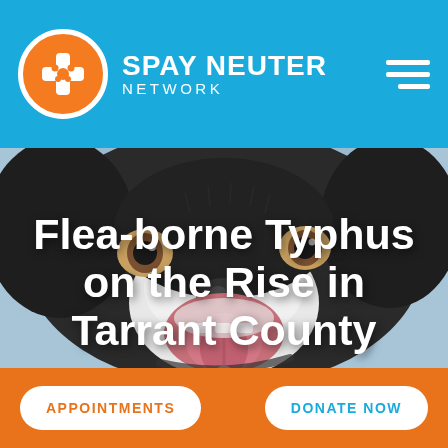SPAY NEUTER NETWORK
[Figure (photo): Close-up photo of a black and white dog with its mouth open, tongue out, looking directly at the camera. The background is blurred blue/grey.]
Flea-borne Typhus on the Rise in Tarrant County
APPOINTMENTS
DONATE NOW